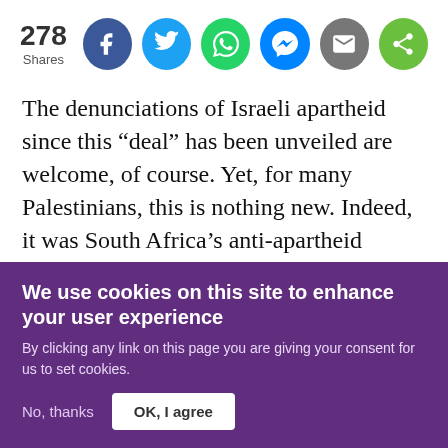[Figure (infographic): Share bar showing 278 shares with social media buttons: Facebook (blue), Twitter (light blue), WhatsApp (green), Messenger (blue), Email (grey), Share (green)]
The denunciations of Israeli apartheid since this “deal” has been unveiled are welcome, of course. Yet, for many Palestinians, this is nothing new. Indeed, it was South Africa’s anti-apartheid struggle that provided the model for the 2005 call for global solidarity in the form of boycott, divestment and sanctions (BDS) - and many of us argued for many years prior that Zionism is racism.
We use cookies on this site to enhance your user experience
By clicking any link on this page you are giving your consent for us to set cookies.
No, thanks
OK, I agree